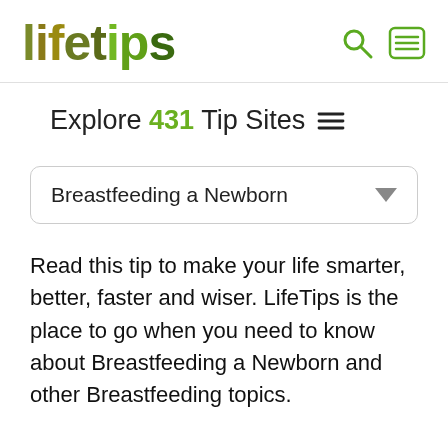lifetips
Explore 431 Tip Sites
Breastfeeding a Newborn
Read this tip to make your life smarter, better, faster and wiser. LifeTips is the place to go when you need to know about Breastfeeding a Newborn and other Breastfeeding topics.